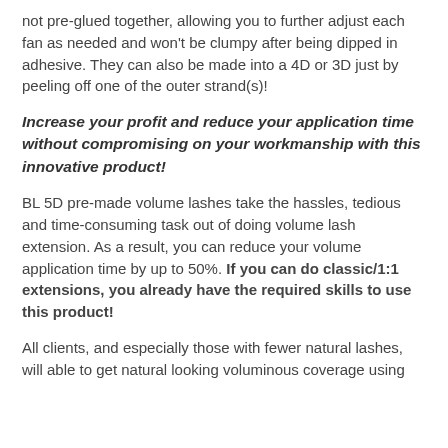not pre-glued together, allowing you to further adjust each fan as needed and won't be clumpy after being dipped in adhesive. They can also be made into a 4D or 3D just by peeling off one of the outer strand(s)!
Increase your profit and reduce your application time without compromising on your workmanship with this innovative product!
BL 5D pre-made volume lashes take the hassles, tedious and time-consuming task out of doing volume lash extension. As a result, you can reduce your volume application time by up to 50%. If you can do classic/1:1 extensions, you already have the required skills to use this product!
All clients, and especially those with fewer natural lashes, will able to get natural looking voluminous coverage using